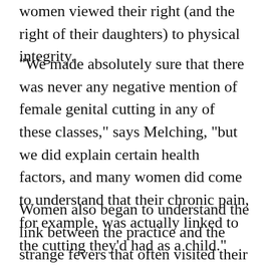women viewed their right (and the right of their daughters) to physical integrity.
"We made absolutely sure that there was never any negative mention of female genital cutting in any of these classes," says Melching, "but we did explain certain health factors, and many women did come to understand that their chronic pain, for example, was actually linked to the cutting they'd had as a child."
Women also began to understand the link between the practice and the strange fevers that often visited their daughters days after the ceremony, fevers caused by infections that wear down otherwise healthy young girls and